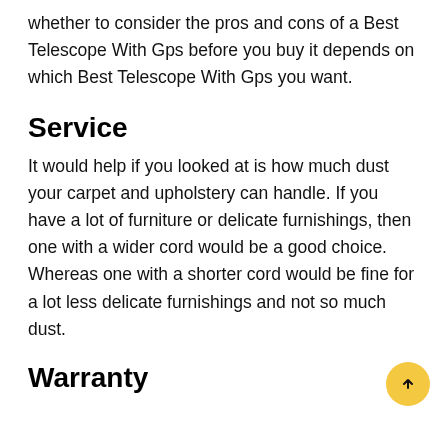whether to consider the pros and cons of a Best Telescope With Gps before you buy it depends on which Best Telescope With Gps you want.
Service
It would help if you looked at is how much dust your carpet and upholstery can handle. If you have a lot of furniture or delicate furnishings, then one with a wider cord would be a good choice. Whereas one with a shorter cord would be fine for a lot less delicate furnishings and not so much dust.
Warranty